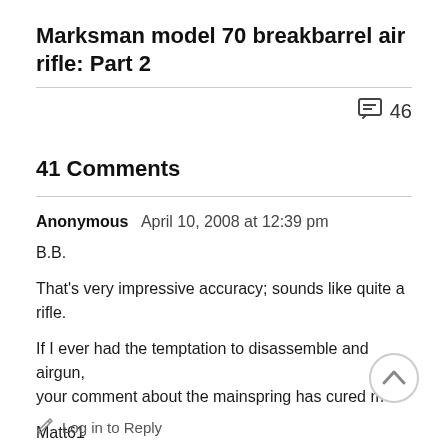Marksman model 70 breakbarrel air rifle: Part 2
46
41 Comments
Anonymous  April 10, 2008 at 12:39 pm

B.B.

That's very impressive accuracy; sounds like quite a rifle.

If I ever had the temptation to disassemble and airgun, your comment about the mainspring has cured me.

Matt61
Log in to Reply